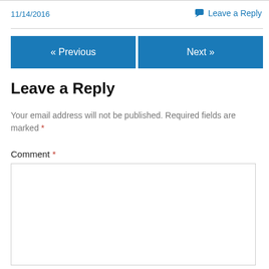11/14/2016
Leave a Reply
« Previous   Next »
Leave a Reply
Your email address will not be published. Required fields are marked *
Comment *